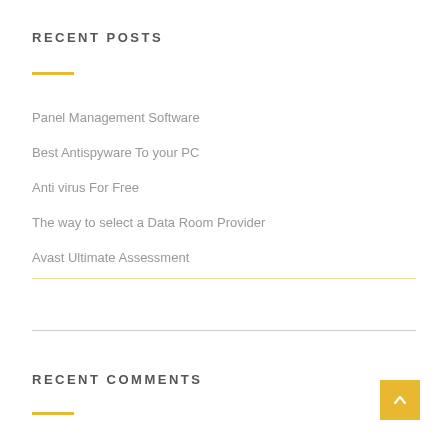RECENT POSTS
Panel Management Software
Best Antispyware To your PC
Anti virus For Free
The way to select a Data Room Provider
Avast Ultimate Assessment
RECENT COMMENTS